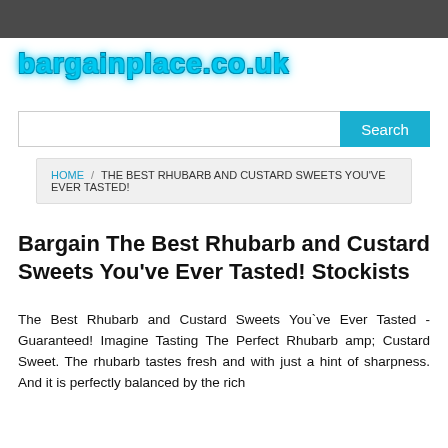bargainplace.co.uk
Search
HOME / THE BEST RHUBARB AND CUSTARD SWEETS YOU'VE EVER TASTED!
Bargain The Best Rhubarb and Custard Sweets You've Ever Tasted! Stockists
The Best Rhubarb and Custard Sweets You`ve Ever Tasted - Guaranteed! Imagine Tasting The Perfect Rhubarb amp; Custard Sweet. The rhubarb tastes fresh and with just a hint of sharpness. And it is perfectly balanced by the rich